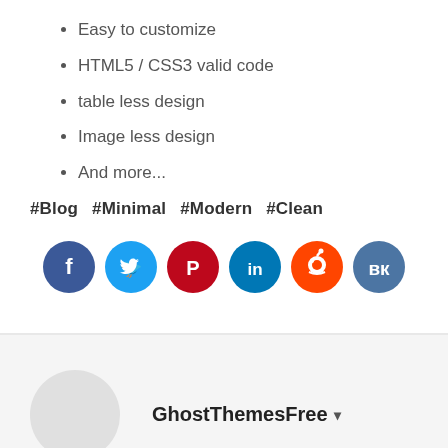Easy to customize
HTML5 / CSS3 valid code
table less design
Image less design
And more...
#Blog  #Minimal  #Modern  #Clean
[Figure (infographic): Row of six social media icon circles: Facebook (dark blue), Twitter (light blue), Pinterest (red), LinkedIn (teal), Reddit (orange), VK (dark blue-grey)]
GhostThemesFree ▾